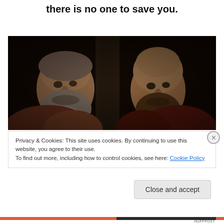there is no one to save you.
[Figure (photo): Dark classical painting showing two bearded men — one older with grey beard on the left, one bald with darker beard on the right — against a dark background with a column visible between them. Renaissance or Baroque style portrait.]
Privacy & Cookies: This site uses cookies. By continuing to use this website, you agree to their use.
To find out more, including how to control cookies, see here: Cookie Policy
Close and accept